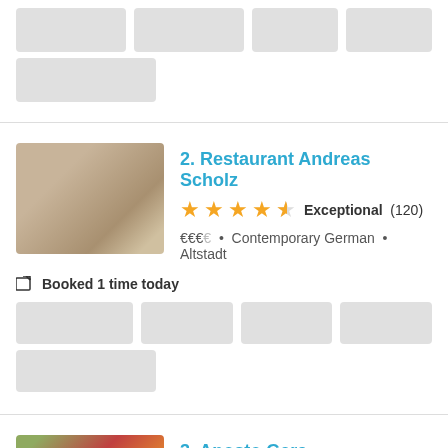[Figure (other): Gray placeholder boxes (top section residual)]
2. Restaurant Andreas Scholz
★★★★½ Exceptional (120)
€€€€ • Contemporary German • Altstadt
Booked 1 time today
[Figure (other): Gray placeholder time slot boxes]
3. Aposto Gera
★★★★½ Awesome (409)
€€€€ • Italian • Stadtmitte